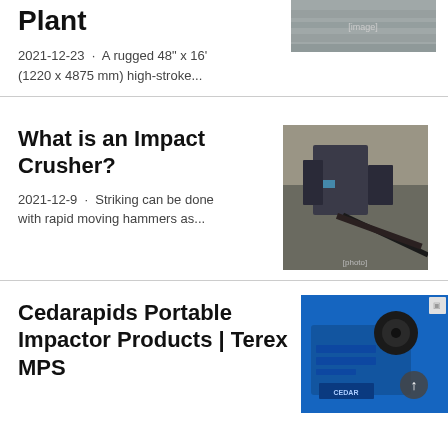Plant
2021-12-23 · A rugged 48" x 16' (1220 x 4875 mm) high-stroke...
[Figure (photo): Aerial or industrial photo, partially visible at top]
What is an Impact Crusher?
2021-12-9 · Striking can be done with rapid moving hammers as...
[Figure (photo): Photo of an impact crusher machine at a quarry site]
Cedarapids Portable Impactor Products | Terex MPS
[Figure (photo): Photo of blue Cedarapids portable impactor equipment]